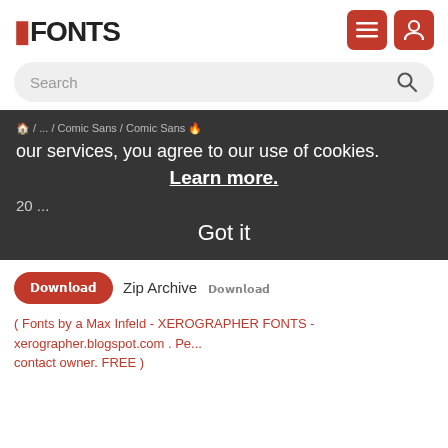[Figure (logo): FFONTS logo in red and dark text with hamburger menu and user icon buttons]
Search
our services, you agree to our use of cookies. Learn more. Got it
🏠 / ... / Comic Sans / Comic Sans 🔥
20 ...
𝗗𝗼𝘄𝗻𝗹𝗼𝗮𝗱  Zip Archive  𝗗𝗼𝘄𝗻𝗹𝗼𝗮𝗱
( Fonts by a Max Infeld - XEROGRAPHER FONTS - xerographer.blogspot.com . Pe... contact owner. FREE )